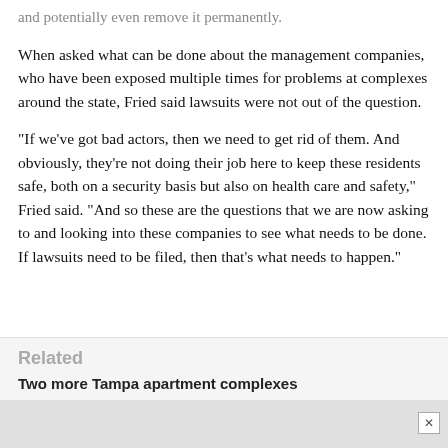and potentially even remove it permanently.
When asked what can be done about the management companies, who have been exposed multiple times for problems at complexes around the state, Fried said lawsuits were not out of the question.
"If we've got bad actors, then we need to get rid of them. And obviously, they're not doing their job here to keep these residents safe, both on a security basis but also on health care and safety," Fried said. "And so these are the questions that we are now asking to and looking into these companies to see what needs to be done. If lawsuits need to be filed, then that's what needs to happen."
Related
Two more Tampa apartment complexes